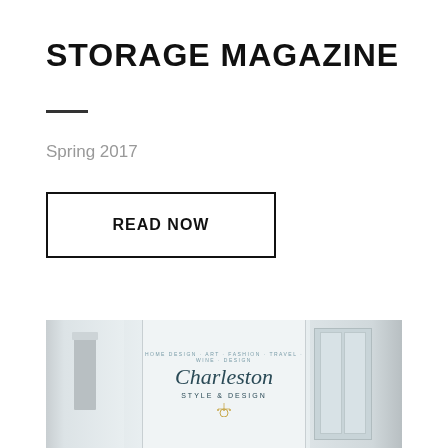STORAGE MAGAZINE
Spring 2017
READ NOW
[Figure (photo): Magazine cover of Charleston Style & Design showing an elegant interior hallway with chandelier, tall windows, and white walls. The cover includes the magazine title 'Charleston Style & Design' and subtitle 'Home Design, Art, Fashion, Travel, Wine, Design'.]